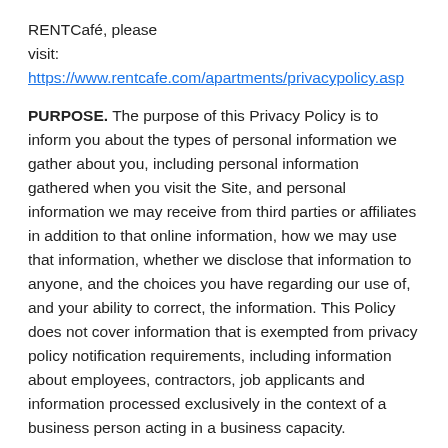RENTCafé, please
visit: https://www.rentcafe.com/apartments/privacypolicy.asp
PURPOSE. The purpose of this Privacy Policy is to inform you about the types of personal information we gather about you, including personal information gathered when you visit the Site, and personal information we may receive from third parties or affiliates in addition to that online information, how we may use that information, whether we disclose that information to anyone, and the choices you have regarding our use of, and your ability to correct, the information.  This Policy does not cover information that is exempted from privacy policy notification requirements, including information about employees, contractors, job applicants and information processed exclusively in the context of a business person acting in a business capacity.
THE SITE IS NOT INTENDED FOR CHILDREN AND